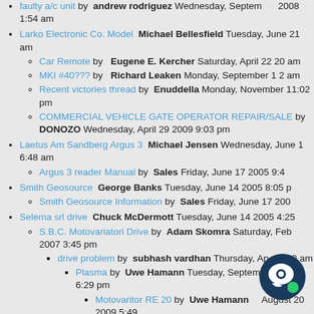faulty a/c unit by andrew rodriguez Wednesday, September 2008 1:54 am
Larko Electronic Co. Model Michael Bellesfield Tuesday, June 21 am
Car Remote by Eugene E. Kercher Saturday, April 22 20 am
MKI #40??? by Richard Leaken Monday, September 1 2 am
Recent victories thread by Enuddella Monday, November 11:02 pm
COMMERCIAL VEHICLE GATE OPERATOR REPAIR/SALE by DONOZO Wednesday, April 29 2009 9:03 pm
Laetus Am Sandberg Argus 3 Michael Jensen Wednesday, June 1 6:48 am
Argus 3 reader Manual by Sales Friday, June 17 2005 9:47
Smith Geosource George Banks Tuesday, June 14 2005 8:05 pm
Smith Geosource Information by Sales Friday, June 17 200
Selema srl drive Chuck McDermott Tuesday, June 14 2005 4:25
S.B.C. Motovariatori Drive by Adam Skomra Saturday, February 2007 3:45 pm
drive problem by subhash vardhan Thursday, April 5:02 am
Plasma by Uwe Hamann Tuesday, September 2008 6:29 pm
Motovaritor RE 20 by Uwe Hamann August 20 2009 5:49
Drive fault by Mr James Pryce Monday 18 2 pm
repair and service of selema AC drive/suupply new by M Ramanathan Saturday, January 30 2010 5:58 am